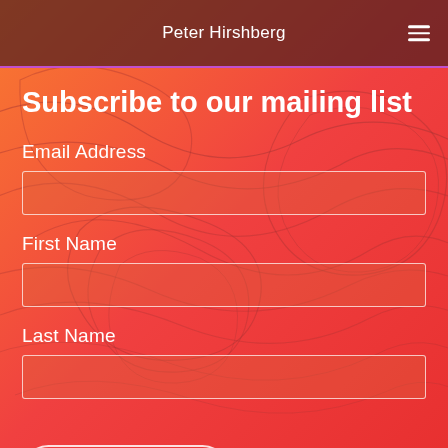Peter Hirshberg
Subscribe to our mailing list
Email Address
First Name
Last Name
Subscribe